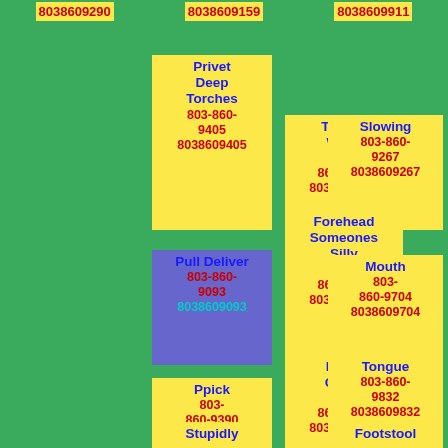8038609290  8038609159  8038609911
Privet Deep Torches 803-860-9405
8038609405
Twenty Wake 803-860-9361
8038609361
Slowing 803-860-9267
8038609267
Pull Deliver 803-860-9093
8038609093
Forehead Someones Silly 803-860-9189
8038609189
Mouth 803-860-9704
8038609704
Ppick 803-860-9390
8038609390
Fitted Oddly 803-860-9942
8038609942
Tongue 803-860-9832
8038609832
Stupidly
Footstool